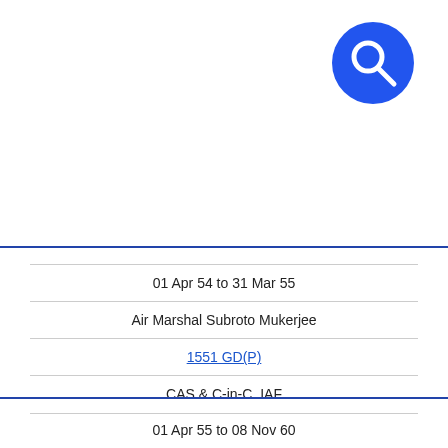[Figure (other): Blue circular search icon with magnifying glass symbol]
01 Apr 54 to 31 Mar 55
Air Marshal Subroto Mukerjee
1551 GD(P)
CAS & C-in-C, IAF
Delhi
[Figure (photo): Black and white photograph of Air Marshal Subroto Mukerjee in military uniform with cap]
01 Apr 55 to 08 Nov 60